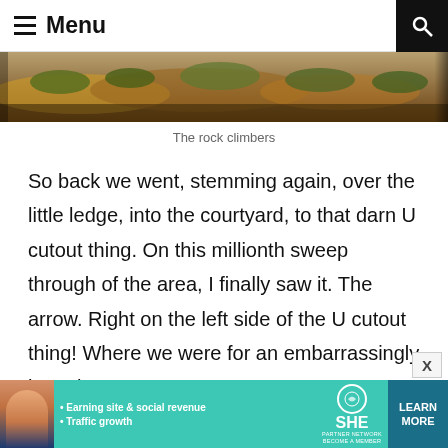Menu
[Figure (photo): Aerial or wide-angle outdoor photo showing rocky terrain with shrubs and desert vegetation, warm orange-brown tones.]
The rock climbers
So back we went, stemming again, over the little ledge, into the courtyard, to that darn U cutout thing. On this millionth sweep through of the area, I finally saw it. The arrow. Right on the left side of the U cutout thing! Where we were for an embarrassingly long time.
[Figure (infographic): Advertisement banner: SHE Media Partner Network — Earning site & social revenue, Traffic growth. Learn More button. Teal background.]